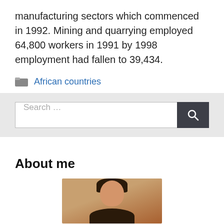manufacturing sectors which commenced in 1992. Mining and quarrying employed 64,800 workers in 1991 by 1998 employment had fallen to 39,434.
African countries
[Figure (screenshot): Search bar with text input field showing 'Search ...' placeholder and a dark search button with magnifying glass icon]
About me
[Figure (photo): Portrait photo of a person with dark hair against a warm brown background, cropped at the top of the page]